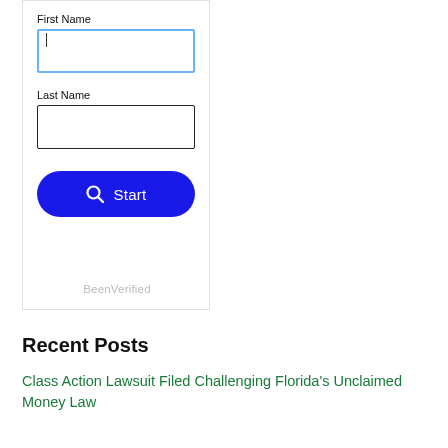[Figure (screenshot): A web widget with two text input fields labeled 'First Name' and 'Last Name', a blue rounded 'Start' button with a magnifying glass icon, and a 'BeenVerified' watermark at the bottom.]
Recent Posts
Class Action Lawsuit Filed Challenging Florida's Unclaimed Money Law